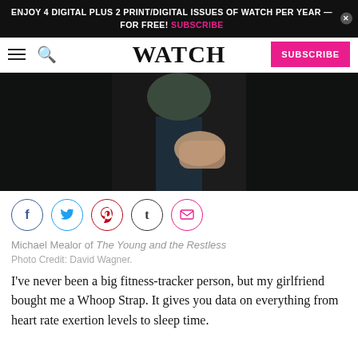ENJOY 4 DIGITAL PLUS 2 PRINT/DIGITAL ISSUES OF WATCH PER YEAR — FOR FREE! SUBSCRIBE
WATCH  SUBSCRIBE
[Figure (photo): Close-up photo of a person's torso and hand, wearing dark jeans and an open dark jacket over a grey t-shirt, against a dark background.]
[Figure (other): Social sharing icons: Facebook, Twitter, Pinterest, Tumblr, Email]
Michael Mealor of The Young and the Restless
Photo Credit: David Wagner.
I've never been a big fitness-tracker person, but my girlfriend bought me a Whoop Strap. It gives you data on everything from heart rate exertion levels to sleep time.